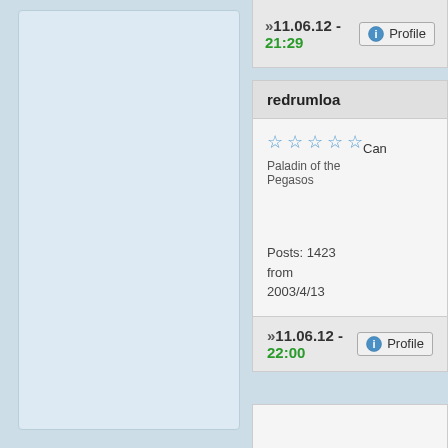»11.06.12 - 21:29  Profile
redrumloa
☆☆☆☆☆ Paladin of the Pegasos
Can
Posts: 1423 from 2003/4/13
»11.06.12 - 22:00  Profile